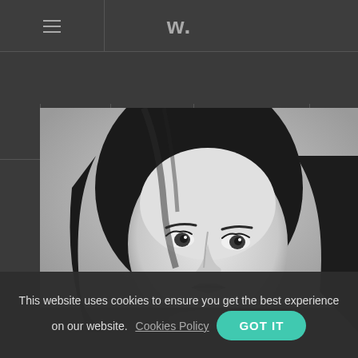≡   W.
2020 ▾   TYPES ▾   COUNTRIES ▾
[Figure (photo): Black and white portrait photo of a young woman with long dark hair, looking slightly upward and to the right]
This website uses cookies to ensure you get the best experience on our website. Cookies Policy   GOT IT